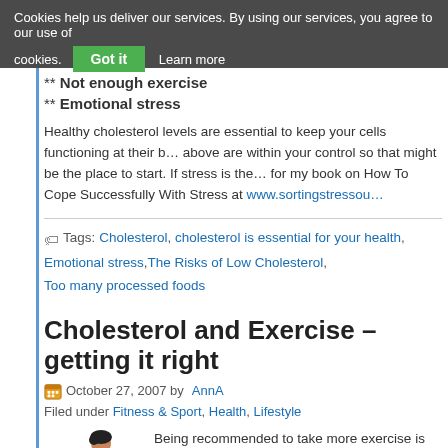Cookies help us deliver our services. By using our services, you agree to our use of cookies.
** Not enough exercise
** Emotional stress
Healthy cholesterol levels are essential to keep your cells functioning at their best. Most of the factors above are within your control so that might be the place to start. If stress is the issue, look for my book on How To Cope Successfully With Stress at www.sortingstressout.com
Tags: Cholesterol, cholesterol is essential for your health, Emotional stress, The Risks of Low Cholesterol, Too many processed foods
Cholesterol and Exercise – getting it right
October 27, 2007 by AnnA
Filed under Fitness & Sport, Health, Lifestyle
[Figure (photo): Woman exercising with dumbbells]
Being recommended to take more exercise is usually what happens if you talk